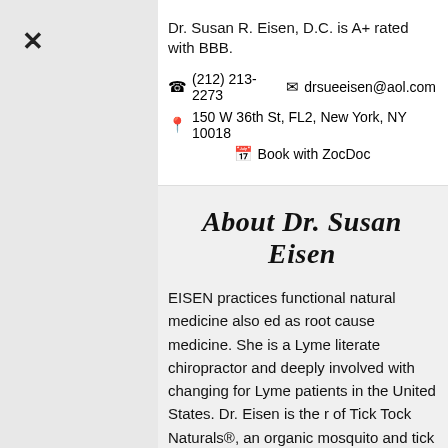✕
Dr. Susan R. Eisen, D.C. is A+ rated with BBB.
(212) 213-2273   drsueeisen@aol.com
150 W 36th St, FL2, New York, NY 10018
Book with ZocDoc
About Dr. Susan Eisen
EISEN practices functional natural medicine also ed as root cause medicine. She is a Lyme literate chiropractor and deeply involved with changing for Lyme patients in the United States. Dr. Eisen is the r of Tick Tock Naturals®, an organic mosquito and tick t.
n has been practicing in New York City since 1993 and rst female chiropractor in New York State to receive cal privileges to practice in the state, at a time when